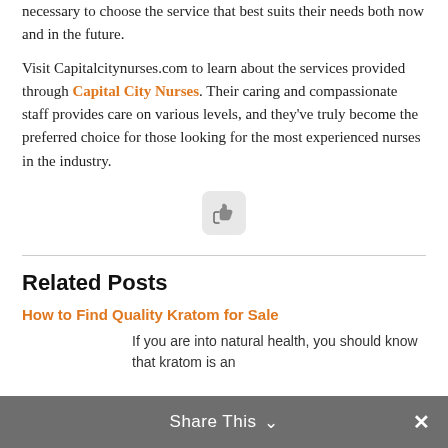necessary to choose the service that best suits their needs both now and in the future.
Visit Capitalcitynurses.com to learn about the services provided through Capital City Nurses. Their caring and compassionate staff provides care on various levels, and they've truly become the preferred choice for those looking for the most experienced nurses in the industry.
[Figure (other): A rounded square like/thumbs-up button icon]
Related Posts
How to Find Quality Kratom for Sale
If you are into natural health, you should know that kratom is an
Share This